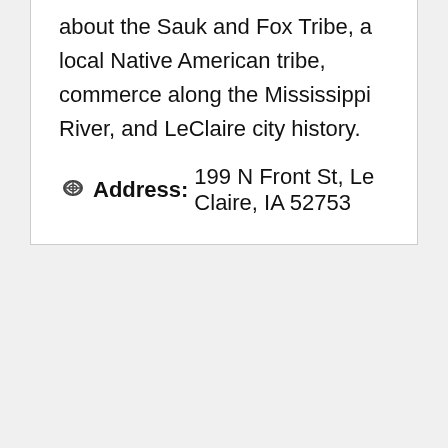about the Sauk and Fox Tribe, a local Native American tribe, commerce along the Mississippi River, and LeClaire city history.
Address: 199 N Front St, Le Claire, IA 52753